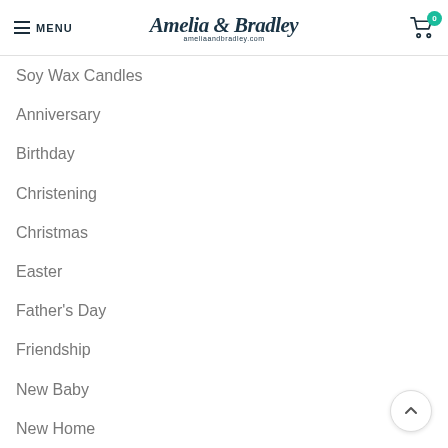MENU | Amelia & Bradley ameliaandbradley.com | Cart 0
Soy Wax Candles
Anniversary
Birthday
Christening
Christmas
Easter
Father's Day
Friendship
New Baby
New Home
Valentines